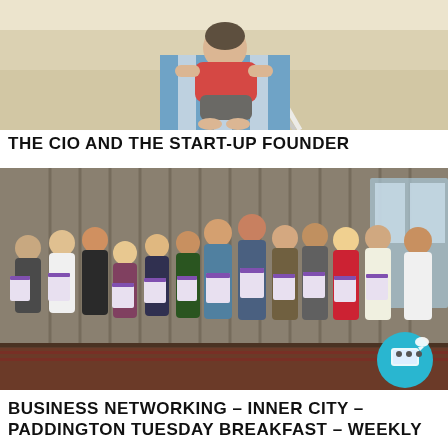[Figure (photo): A person in a red shirt lounging on a beach chair on white sand in sunlight]
THE CIO AND THE START-UP FOUNDER
[Figure (photo): A group of people standing together indoors holding framed certificates, posing for a group photo]
BUSINESS NETWORKING – INNER CITY – PADDINGTON TUESDAY BREAKFAST – WEEKLY